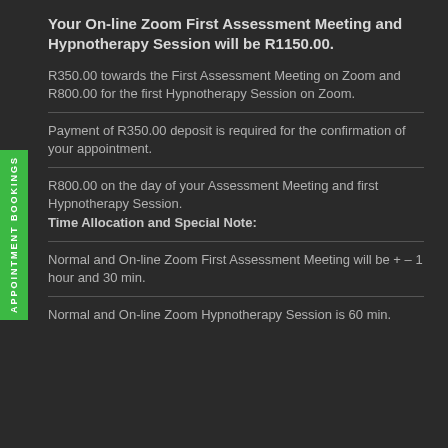Your On-line Zoom First Assessment Meeting and Hypnotherapy Session will be R1150.00.
R350.00 towards the First Assessment Meeting on Zoom and R800.00 for the first Hypnotherapy Session on Zoom.
Payment of R350.00 deposit is required for the confirmation of your appointment.
R800.00 on the day of your Assessment Meeting and first Hypnotherapy Session.
Time Allocation and Special Note:
Normal and On-line Zoom First Assessment Meeting will be + – 1 hour and 30 min.
Normal and On-line Zoom Hypnotherapy Session is 60 min.